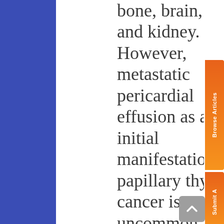bone, brain, liver and kidney. However, metastatic pericardial effusion as an initial manifestation of papillary thyroid cancer is uncommon. In such cases, histological findings could be challenging. Sporadic cases of